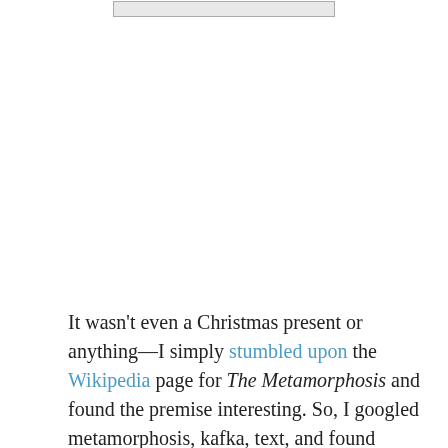[header image/logo]
It wasn't even a Christmas present or anything—I simply stumbled upon the Wikipedia page for The Metamorphosis and found the premise interesting. So, I googled metamorphosis, kafka, text, and found Project Gutenberg (a free online Repository of E...